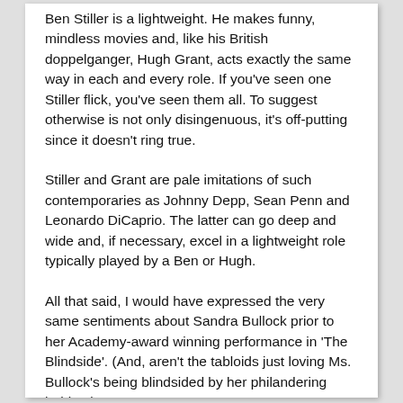Ben Stiller is a lightweight. He makes funny, mindless movies and, like his British doppelganger, Hugh Grant, acts exactly the same way in each and every role. If you've seen one Stiller flick, you've seen them all. To suggest otherwise is not only disingenuous, it's off-putting since it doesn't ring true.
Stiller and Grant are pale imitations of such contemporaries as Johnny Depp, Sean Penn and Leonardo DiCaprio. The latter can go deep and wide and, if necessary, excel in a lightweight role typically played by a Ben or Hugh.
All that said, I would have expressed the very same sentiments about Sandra Bullock prior to her Academy-award winning performance in 'The Blindside'. (And, aren't the tabloids just loving Ms. Bullock's being blindsided by her philandering hubby?).
But, back to the issue at hand. Shakespeare wrote, 'A rose by any other name would smell as sweet.' And a Stiller flick is a Stiller flick is a Stiller flick. If you've seen one, you've seen 'em all. If I had the legal power, I'd issue a cease and desist to